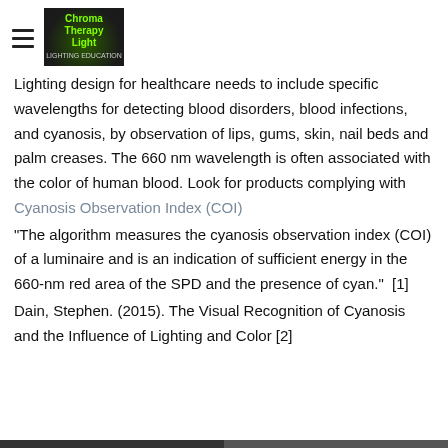Chroma Therapy Light
Lighting design for healthcare needs to include specific wavelengths for detecting blood disorders, blood infections, and cyanosis, by observation of lips, gums, skin, nail beds and palm creases. The 660 nm wavelength is often associated with the color of human blood. Look for products complying with Cyanosis Observation Index (COI)
"The algorithm measures the cyanosis observation index (COI) of a luminaire and is an indication of sufficient energy in the 660-nm red area of the SPD and the presence of cyan."  [1]
Dain, Stephen. (2015). The Visual Recognition of Cyanosis and the Influence of Lighting and Color [2]